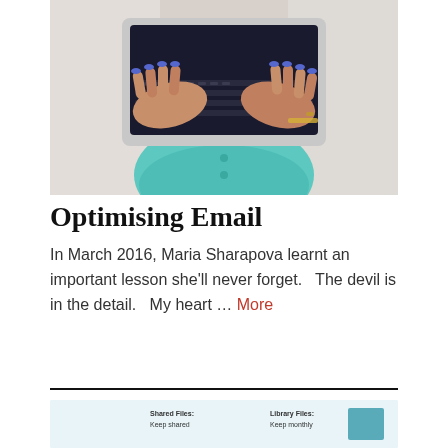[Figure (photo): Overhead view of a woman in a teal/mint top typing on a laptop, with hands showing blue nail polish and a gold bracelet.]
Optimising Email
In March 2016, Maria Sharapova learnt an important lesson she'll never forget.   The devil is in the detail.   My heart … More
[Figure (screenshot): Partial screenshot showing a file library interface with 'Shared Files: Keep shared' and 'Library Files: Keep monthly' labels.]